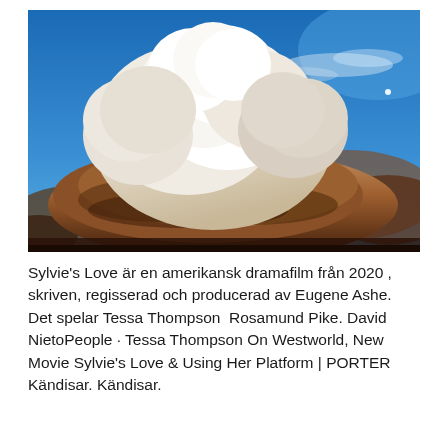[Figure (photo): Dramatic cloudscape photo showing a large cumulonimbus cloud with white billowing top against a blue sky, with brownish-orange darker storm clouds at the base.]
Sylvie's Love är en amerikansk dramafilm från 2020 , skriven, regisserad och producerad av Eugene Ashe. Det spelar Tessa Thompson  Rosamund Pike. David NietoPeople · Tessa Thompson On Westworld, New Movie Sylvie's Love & Using Her Platform | PORTER Kändisar. Kändisar.